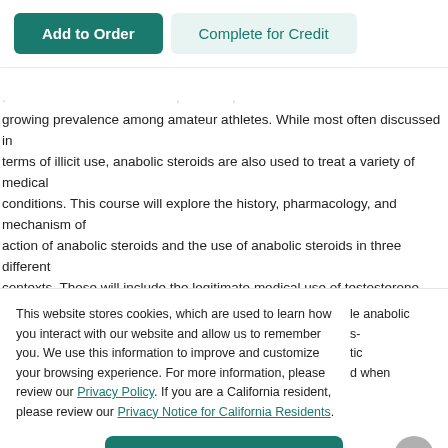Add to Order | Complete for Credit
growing prevalence among amateur athletes. While most often discussed in terms of illicit use, anabolic steroids are also used to treat a variety of medical conditions. This course will explore the history, pharmacology, and mechanism of action of anabolic steroids and the use of anabolic steroids in three different contexts. These will include the legitimate medical use of testosterone replacement in hypogonadal male patients, the legitimate medical use of
This website stores cookies, which are used to learn how you interact with our website and allow us to remember you. We use this information to improve and customize your browsing experience. For more information, please review our Privacy Policy. If you are a California resident, please review our Privacy Notice for California Residents.
le anabolic s- tic d when
Accept